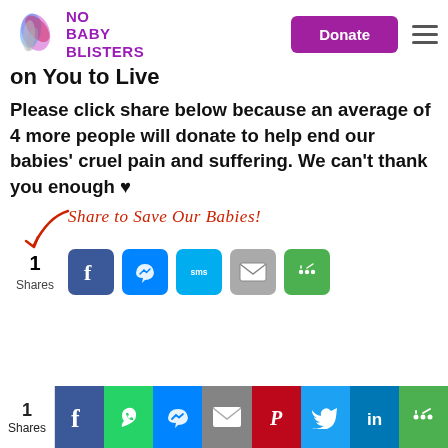[Figure (logo): No Baby Blisters logo with colorful bird/flame icon and purple text]
on You to Live
Please click share below because an average of 4 more people will donate to help end our babies' cruel pain and suffering. We can't thank you enough ♥
[Figure (infographic): Share to Save Our Babies! with arrow graphic and social sharing buttons showing 1 Share: Facebook, Messenger, SMS, Email, More]
[Figure (infographic): Bottom sharing bar with 1 Shares and social buttons: Facebook, WhatsApp, Messenger, Email, Pinterest, Twitter, LinkedIn, More]